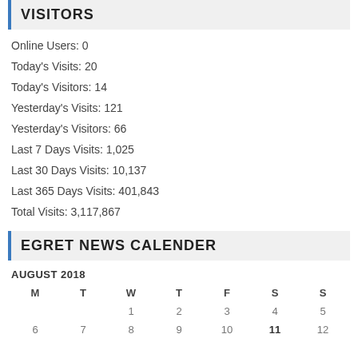VISITORS
Online Users: 0
Today's Visits: 20
Today's Visitors: 14
Yesterday's Visits: 121
Yesterday's Visitors: 66
Last 7 Days Visits: 1,025
Last 30 Days Visits: 10,137
Last 365 Days Visits: 401,843
Total Visits: 3,117,867
EGRET NEWS CALENDER
| M | T | W | T | F | S | S |
| --- | --- | --- | --- | --- | --- | --- |
|  |  | 1 | 2 | 3 | 4 | 5 |
| 6 | 7 | 8 | 9 | 10 | 11 | 12 |